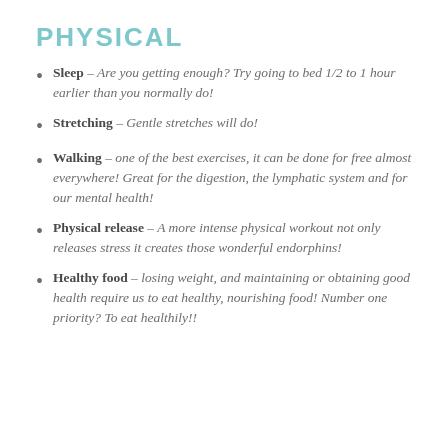PHYSICAL
Sleep – Are you getting enough? Try going to bed 1/2 to 1 hour earlier than you normally do!
Stretching – Gentle stretches will do!
Walking – one of the best exercises, it can be done for free almost everywhere! Great for the digestion, the lymphatic system and for our mental health!
Physical release – A more intense physical workout not only releases stress it creates those wonderful endorphins!
Healthy food – losing weight, and maintaining or obtaining good health require us to eat healthy, nourishing food! Number one priority? To eat healthily!!